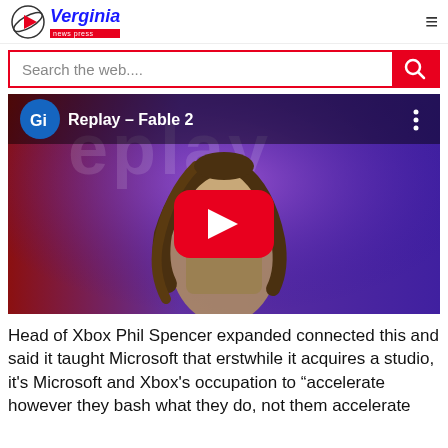Verginia news press
Search the web....
[Figure (screenshot): YouTube video thumbnail for 'Replay - Fable 2' showing a GameInformer (Gi) logo, the text 'Replay - Fable 2', a fantasy character with long brown hair, and a red YouTube play button in the center.]
Head of Xbox Phil Spencer expanded connected this and said it taught Microsoft that erstwhile it acquires a studio, it's Microsoft and Xbox's occupation to “accelerate however they bash what they do, not them accelerate